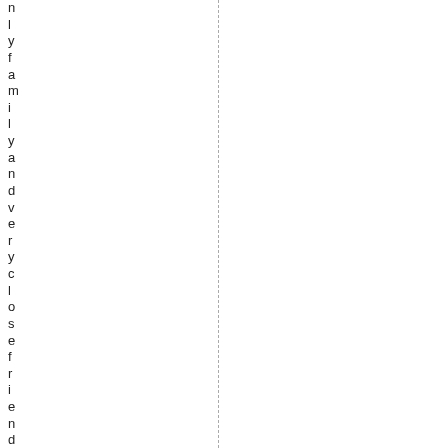n l y f a m i l y a n d v e r y c l o s e f r i e n d s k n o